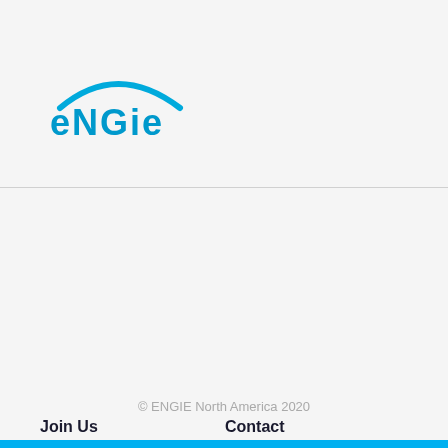[Figure (logo): ENGIE logo in blue with arc above text]
Join Us
Contact
Privacy
Legal
ENGIE Global
For Suppliers
[Figure (illustration): Social media icons: Twitter, LinkedIn, YouTube]
© ENGIE North America 2020